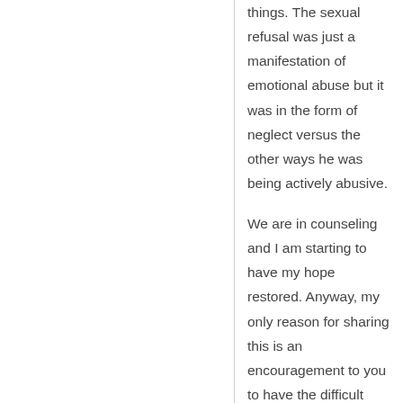things. The sexual refusal was just a manifestation of emotional abuse but it was in the form of neglect versus the other ways he was being actively abusive.

We are in counseling and I am starting to have my hope restored. Anyway, my only reason for sharing this is an encouragement to you to have the difficult conversations before things get way out of